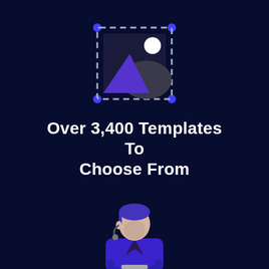[Figure (illustration): Image placeholder icon: a square with dashed border and blue corner dots containing a mountain/landscape scene with purple mountain shapes and a white circle (sun/moon), styled as a template icon]
Over 3,400 Templates To Choose From
[Figure (illustration): Customer support agent icon: a person with blue/purple hair wearing a blue uniform with a headset microphone, shown from waist up, with a desk or counter element below]
Unrivaled Customer Support